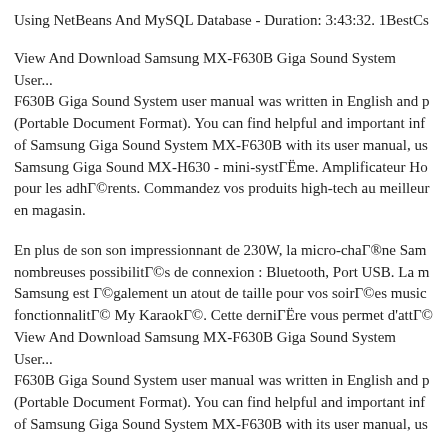Using NetBeans And MySQL Database - Duration: 3:43:32. 1BestCs
View And Download Samsung MX-F630B Giga Sound System User... F630B Giga Sound System user manual was written in English and p (Portable Document Format). You can find helpful and important info of Samsung Giga Sound System MX-F630B with its user manual, us Samsung Giga Sound MX-H630 - mini-systГЁme. Amplificateur Ho pour les adhГ©rents. Commandez vos produits high-tech au meilleur en magasin.
En plus de son son impressionnant de 230W, la micro-chaГ®ne Sam nombreuses possibilitГ©s de connexion : Bluetooth, Port USB. La m Samsung est Г©galement un atout de taille pour vos soirГ©es music fonctionnalitГ© My KaraokГ©. Cette derniГЁre vous permet d'attГ© View And Download Samsung MX-F630B Giga Sound System User... F630B Giga Sound System user manual was written in English and p (Portable Document Format). You can find helpful and important info of Samsung Giga Sound System MX-F630B with its user manual, us